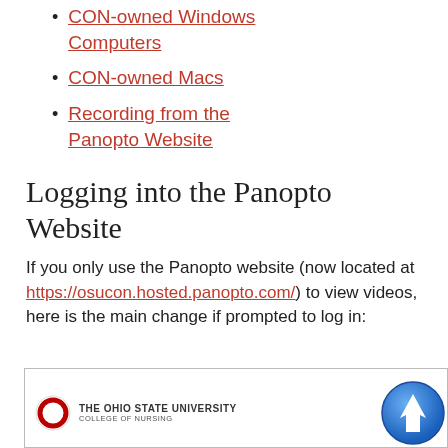CON-owned Windows Computers
CON-owned Macs
Recording from the Panopto Website
Logging into the Panopto Website
If you only use the Panopto website (now located at https://osucon.hosted.panopto.com/) to view videos, here is the main change if prompted to log in:
[Figure (screenshot): Screenshot showing The Ohio State University College of Nursing Panopto login page header with OSU logo and 'Powered by Panopto' text]